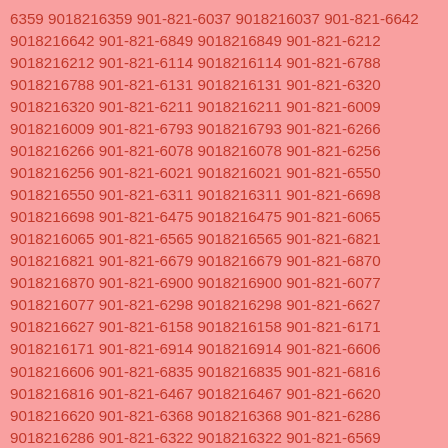6359 9018216359 901-821-6037 9018216037 901-821-6642 9018216642 901-821-6849 9018216849 901-821-6212 9018216212 901-821-6114 9018216114 901-821-6788 9018216788 901-821-6131 9018216131 901-821-6320 9018216320 901-821-6211 9018216211 901-821-6009 9018216009 901-821-6793 9018216793 901-821-6266 9018216266 901-821-6078 9018216078 901-821-6256 9018216256 901-821-6021 9018216021 901-821-6550 9018216550 901-821-6311 9018216311 901-821-6698 9018216698 901-821-6475 9018216475 901-821-6065 9018216065 901-821-6565 9018216565 901-821-6821 9018216821 901-821-6679 9018216679 901-821-6870 9018216870 901-821-6900 9018216900 901-821-6077 9018216077 901-821-6298 9018216298 901-821-6627 9018216627 901-821-6158 9018216158 901-821-6171 9018216171 901-821-6914 9018216914 901-821-6606 9018216606 901-821-6835 9018216835 901-821-6816 9018216816 901-821-6467 9018216467 901-821-6620 9018216620 901-821-6368 9018216368 901-821-6286 9018216286 901-821-6322 9018216322 901-821-6569 9018216569 901-821-6054 9018216054 901-821-6254 9018216254 901-821-6135 9018216135 901-821-6972 9018216972 901-821-6517 9018216517 901-821-6584 9018216584 901-821-6514 9018216514 901-821-6715 9018216715 901-821-6356 9018216356 901-821-6920 9018216920 901-821-6857 9018216857 901-821-6169 9018216169 901-821-6827 9018216827 901-821-6973 9018216973 901-821-6629 9018216629 901-821-6115 9018216115 901-821-6505 9018216505 901-821-6757 9018216757 901-821-6980 9018216980 901-821-6440 9018216440